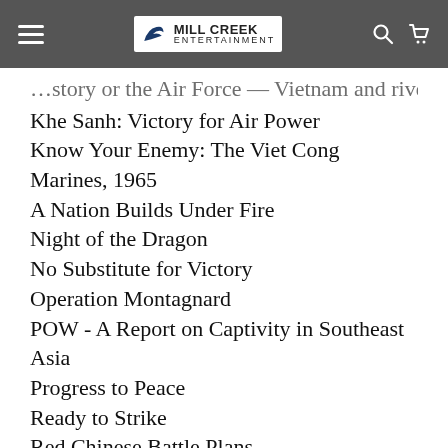Mill Creek Entertainment
Khe Sanh: Victory for Air Power
Know Your Enemy: The Viet Cong
Marines, 1965
A Nation Builds Under Fire
Night of the Dragon
No Substitute for Victory
Operation Montagnard
POW - A Report on Captivity in Southeast Asia
Progress to Peace
Ready to Strike
Red Chinese Battle Plans
Report on Marine Activities
River Patrol